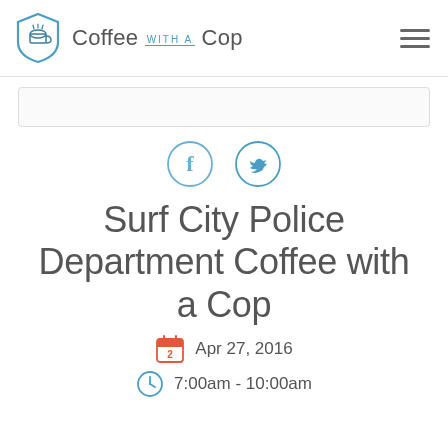Coffee with a Cop
[Figure (screenshot): Partial view of an image card at the top of the page]
[Figure (infographic): Social share buttons: Facebook and Twitter circle icons]
Surf City Police Department Coffee with a Cop
Apr 27, 2016
7:00am - 10:00am